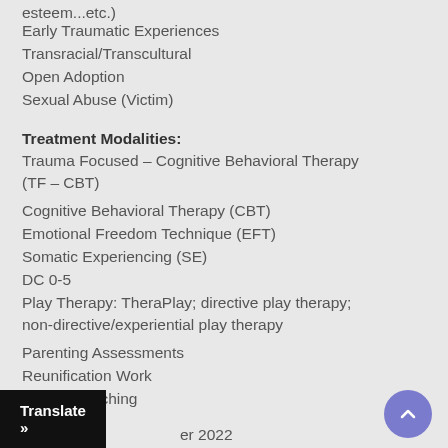esteem...etc.)
Early Traumatic Experiences
Transracial/Transcultural
Open Adoption
Sexual Abuse (Victim)
Treatment Modalities:
Trauma Focused – Cognitive Behavioral Therapy (TF – CBT)
Cognitive Behavioral Therapy (CBT)
Emotional Freedom Technique (EFT)
Somatic Experiencing (SE)
DC 0-5
Play Therapy: TheraPlay; directive play therapy; non-directive/experiential play therapy
Parenting Assessments
Reunification Work
Parent Coaching
Translate »
er 2022